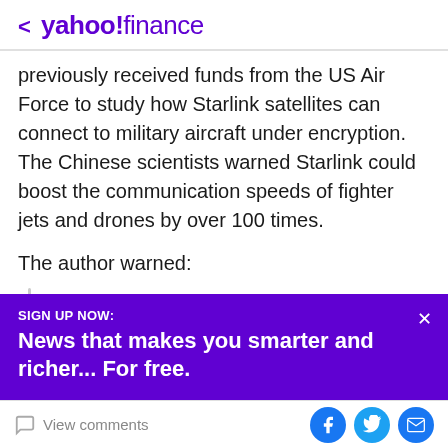< yahoo!finance
previously received funds from the US Air Force to study how Starlink satellites can connect to military aircraft under encryption. The Chinese scientists warned Starlink could boost the communication speeds of fighter jets and drones by over 100 times.
The author warned:
“When completed, Starlink satellites can be mounted with reconnaissance, navigation and
SIGN UP NOW:
News that makes you smarter and richer... For free.
View comments